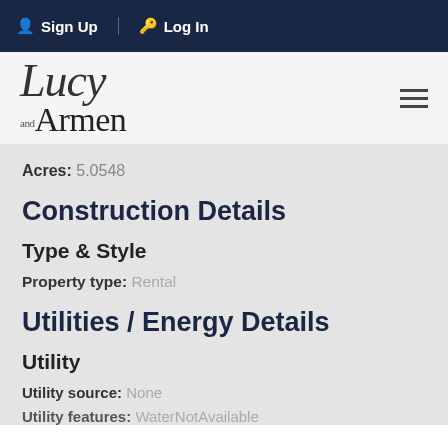Sign Up  Log In
[Figure (logo): Lucy and Armen real estate logo with hamburger menu icon]
Acres: 5.0548
Construction Details
Type & Style
Property type: Rental
Utilities / Energy Details
Utility
Utility source: None
Utility features: WaterNotAvailable